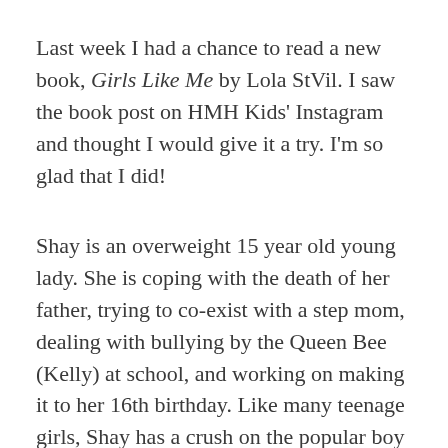Last week I had a chance to read a new book, Girls Like Me by Lola StVil. I saw the book post on HMH Kids' Instagram and thought I would give it a try. I'm so glad that I did!
Shay is an overweight 15 year old young lady. She is coping with the death of her father, trying to co-exist with a step mom, dealing with bullying by the Queen Bee (Kelly) at school, and working on making it to her 16th birthday. Like many teenage girls, Shay has a crush on the popular boy in school, Blake Harrison, but he doesn't know she exists. Shay relies on her best friends, Boots (dying from a brain tumor) and Dash (the amazing gay